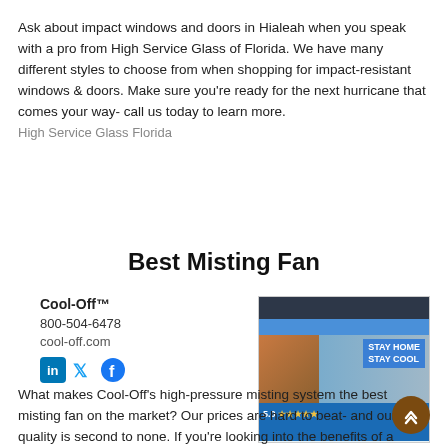Ask about impact windows and doors in Hialeah when you speak with a pro from High Service Glass of Florida. We have many different styles to choose from when shopping for impact-resistant windows & doors. Make sure you're ready for the next hurricane that comes your way- call us today to learn more.
High Service Glass Florida
Best Misting Fan
Cool-Off™
800-504-6478
cool-off.com
[Figure (screenshot): Screenshot of Cool-Off website showing 'STAY HOME STAY COOL' banner with a patio umbrella image, blue navigation bar, and a rating section showing 5.0 stars]
What makes Cool-Off's high-pressure misting system the best misting fan on the market? Our prices are hard to beat- and our quality is second to none. If you're looking into the benefits of a home misting system, you'll find we have the perfectly-sized mister for your...